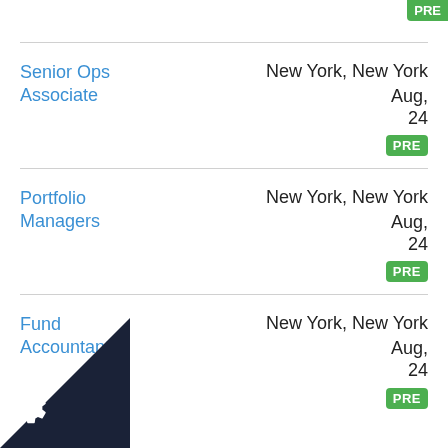Senior Ops Associate — New York, New York — Aug, 24 — PRE
Portfolio Managers — New York, New York — Aug, 24 — PRE
Fund Accountant — New York, New York — Aug, 24 — PRE